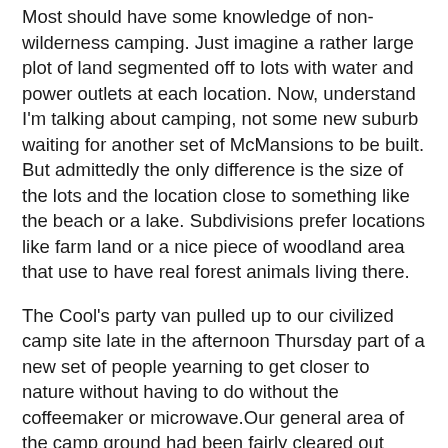Most should have some knowledge of non-wilderness camping. Just imagine a rather large plot of land segmented off to lots with water and power outlets at each location. Now, understand I'm talking about camping, not some new suburb waiting for another set of McMansions to be built. But admittedly the only difference is the size of the lots and the location close to something like the beach or a lake. Subdivisions prefer locations like farm land or a nice piece of woodland area that use to have real forest animals living there.
The Cool's party van pulled up to our civilized camp site late in the afternoon Thursday part of a new set of people yearning to get closer to nature without having to do without the coffeemaker or microwave.Our general area of the camp ground had been fairly cleared out leaving us for at that moment without any neighbors to the left or right of us. Across for us though was a tiny hard-shell camper that for years generally defied my understanding because of how small it was until I happen to see one at a gas station one time. The tiny campers of these types turned out to be nothing but a sleeper camper containing a queen size